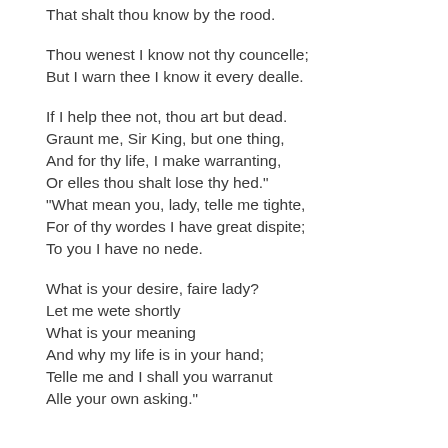That shalt thou know by the rood.
Thou wenest I know not thy councelle;
But I warn thee I know it every dealle.
If I help thee not, thou art but dead.
Graunt me, Sir King, but one thing,
And for thy life, I make warranting,
Or elles thou shalt lose thy hed."
"What mean you, lady, telle me tighte,
For of thy wordes I have great dispite;
To you I have no nede.
What is your desire, faire lady?
Let me wete shortly
What is your meaning
And why my life is in your hand;
Telle me and I shall you warranut
Alle your own asking."